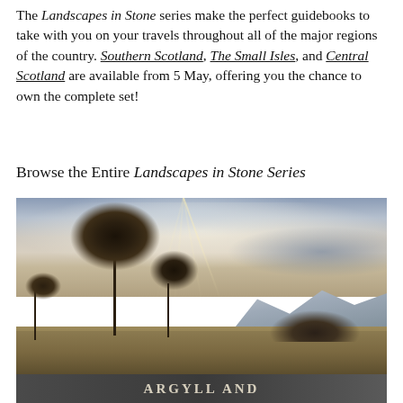The Landscapes in Stone series make the perfect guidebooks to take with you on your travels throughout all of the major regions of the country. Southern Scotland, The Small Isles, and Central Scotland are available from 5 May, offering you the chance to own the complete set!
Browse the Entire Landscapes in Stone Series
[Figure (photo): Landscape photograph showing a Scottish loch scene with silhouetted pine trees in the foreground, calm water in the middle ground, snow-capped mountains in the background, and dramatic cloudy sky. At the bottom of the image, text reads 'ARGYLL AND...' in large capital letters on a dark banner.]